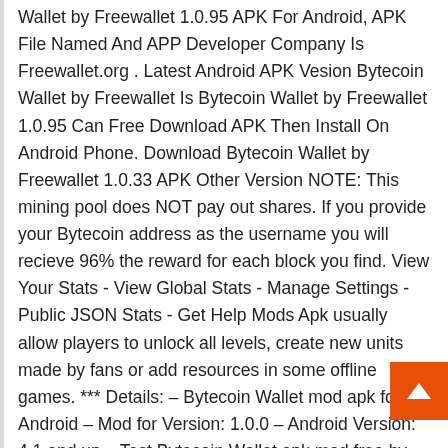Wallet by Freewallet 1.0.95 APK For Android, APK File Named And APP Developer Company Is Freewallet.org . Latest Android APK Vesion Bytecoin Wallet by Freewallet Is Bytecoin Wallet by Freewallet 1.0.95 Can Free Download APK Then Install On Android Phone. Download Bytecoin Wallet by Freewallet 1.0.33 APK Other Version NOTE: This mining pool does NOT pay out shares. If you provide your Bytecoin address as the username you will recieve 96% the reward for each block you find. View Your Stats - View Global Stats - Manage Settings - Public JSON Stats - Get Help Mods Apk usually allow players to unlock all levels, create new units made by fans or add resources in some offline games. *** Details: – Bytecoin Wallet mod apk for Android – Mod for Version: 1.0.0 – Android Version: 4.1 and up – Test Bytecoin Wallet apk mod free by clicking the button given below. – Game type: Finance – Category Mining Observer - simple application for checking miners on different pool. Watch your mining rigs from your mobile. This application shows the current speed, balance and a lot of various information. With the notification function, you will always know about problems in mining. Start mining Bitcoin Cash or Bitcoin Core today! The